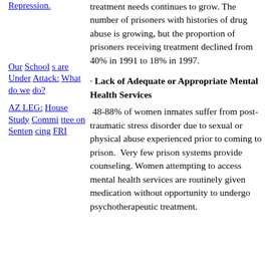Repression.
treatment needs continues to grow. The number of prisoners with histories of drug abuse is growing, but the proportion of prisoners receiving treatment declined from 40% in 1991 to 18% in 1997.
Our Schools are Under Attack: What do we do?
· Lack of Adequate or Appropriate Mental Health Services
48-88% of women inmates suffer from post-traumatic stress disorder due to sexual or physical abuse experienced prior to coming to prison. Very few prison systems provide counseling. Women attempting to access mental health services are routinely given medication without opportunity to undergo psychotherapeutic treatment.
AZ LEG: House Study Committee on Sentencing FRI